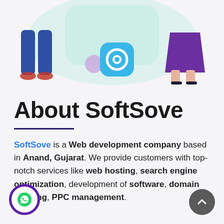[Figure (illustration): Decorative illustration showing two cartoon figures (left: person with blue pants and red shoes, right: person in purple skirt with high heels) flanking a smartphone/app UI element with a teal background blob, a blue app icon, and a purple circle accent.]
About SoftSove
SoftSove is a Web development company based in Anand, Gujarat. We provide customers with top-notch services like web hosting, search engine optimization, development of software, domain booking, PPC management.